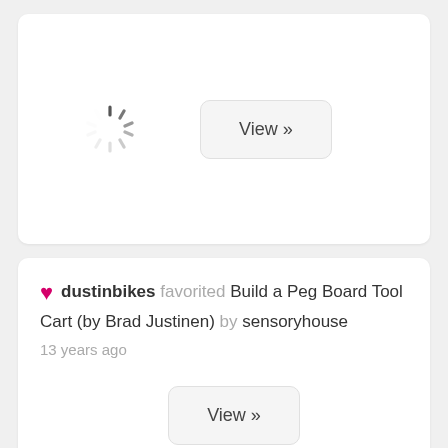[Figure (screenshot): Loading spinner (animated circle with dashes) and a 'View »' button inside a white card]
dustinbikes favorited Build a Peg Board Tool Cart (by Brad Justinen) by sensoryhouse
13 years ago
[Figure (screenshot): A 'View »' button inside the second white card]
dustinbikes favorited Ultimate DeskSquid / Helping